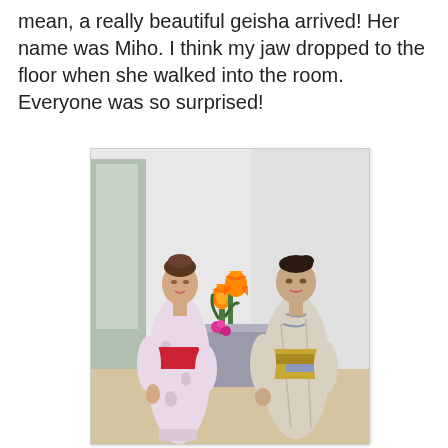mean, a really beautiful geisha arrived! Her name was Miho. I think my jaw dropped to the floor when she walked into the room. Everyone was so surprised!
[Figure (photo): Two women wearing traditional Japanese kimono standing indoors. The woman on the left wears a light pink/lavender floral kimono with a red obi sash. The woman on the right wears a beige/cream kimono with a decorative gold and blue obi. Between them is a vase with orange lily flowers and pink flowers on a grey table.]